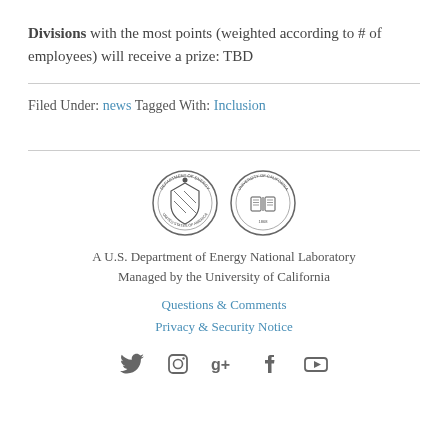Divisions with the most points (weighted according to # of employees) will receive a prize: TBD
Filed Under: news Tagged With: Inclusion
[Figure (illustration): Two circular institutional seals side by side: U.S. Department of Energy seal and University of California seal]
A U.S. Department of Energy National Laboratory
Managed by the University of California
Questions & Comments
Privacy & Security Notice
[Figure (other): Social media icons: Twitter, Instagram, Google+, Facebook, YouTube]